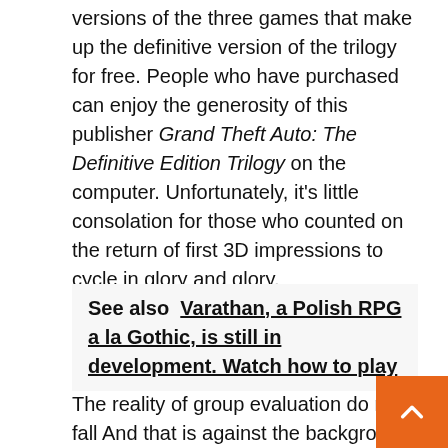versions of the three games that make up the definitive version of the trilogy for free. People who have purchased can enjoy the generosity of this publisher Grand Theft Auto: The Definitive Edition Trilogy on the computer. Unfortunately, it's little consolation for those who counted on the return of first 3D impressions to cycle in glory and glory.
See also  Varathan, a Polish RPG a la Gothic, is still in development. Watch how to play
The reality of group evaluation do not fall And that is against the background, for example, of notifications given to games Plan Wonderland if eFootball 202. Only if that was a reason to make you proud of the creators of one of the best rated and most profitable